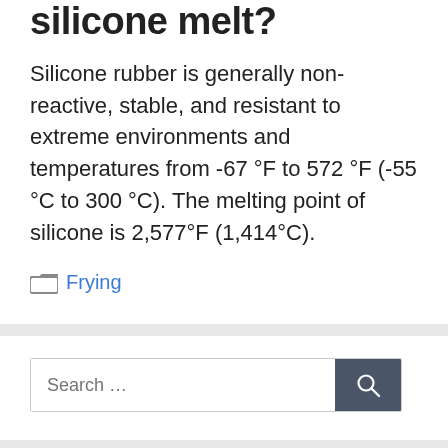silicone melt?
Silicone rubber is generally non-reactive, stable, and resistant to extreme environments and temperatures from -67 °F to 572 °F (-55 °C to 300 °C). The melting point of silicone is 2,577°F (1,414°C).
Categories: Frying
Search ...
From the author